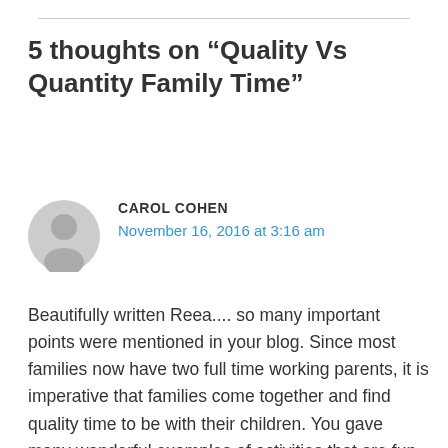5 thoughts on “Quality Vs Quantity Family Time”
[Figure (illustration): Gray circular avatar icon with a silhouette of a person]
CAROL COHEN
November 16, 2016 at 3:16 am
Beautifully written Reea.... so many important points were mentioned in your blog. Since most families now have two full time working parents, it is imperative that families come together and find quality time to be with their children. You gave many wonderful examples of activities that are fun, stimulating, creative, educational and inspirational...children who are involved in the planning and participation of these family activities feel more secure, confident, and loved. It’s